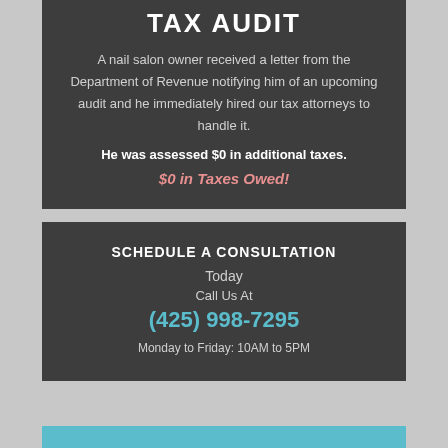TAX AUDIT
A nail salon owner received a letter from the Department of Revenue notifying him of an upcoming audit and he immediately hired our tax attorneys to handle it.
He was assessed $0 in additional taxes.
$0 in Taxes Owed!
SCHEDULE A CONSULTATION
Today
Call Us At
(425) 998-7295
Monday to Friday: 10AM to 5PM